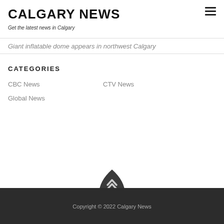CALGARY NEWS
Get the latest news in Calgary
Giant inflatable dome appears in northwest Calgary
CATEGORIES
CBC News
CTV News
Global News
Copyright © 2022 Calgary News